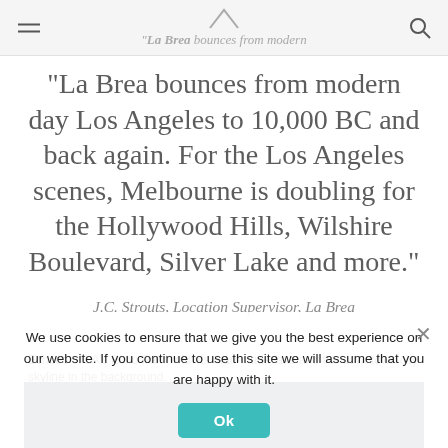La Brea bounces from modern
"La Brea bounces from modern day Los Angeles to 10,000 BC and back again. For the Los Angeles scenes, Melbourne is doubling for the Hollywood Hills, Wilshire Boulevard, Silver Lake and more."
J.C. Strouts, Location Supervisor, La Brea
Echoes of LA's Echo Park, with its man-made lake and the downtown city skyline in the background.
We use cookies to ensure that we give you the best experience on our website. If you continue to use this site we will assume that you are happy with it.